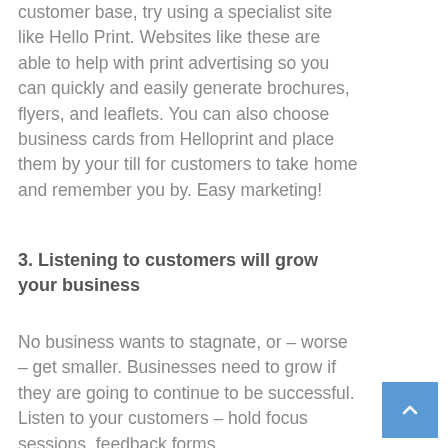customer base, try using a specialist site like Hello Print. Websites like these are able to help with print advertising so you can quickly and easily generate brochures, flyers, and leaflets. You can also choose business cards from Helloprint and place them by your till for customers to take home and remember you by. Easy marketing!
3. Listening to customers will grow your business
No business wants to stagnate, or – worse – get smaller. Businesses need to grow if they are going to continue to be successful. Listen to your customers – hold focus sessions, feedback forms,